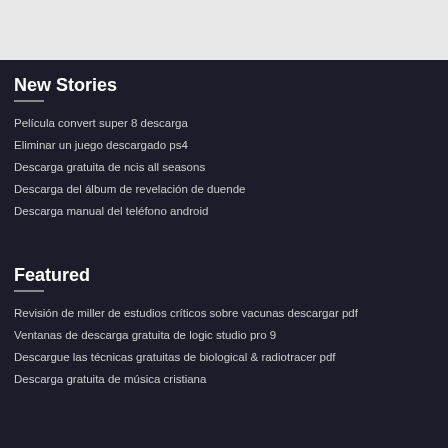New Stories
Película convert super 8 descarga
Eliminar un juego descargado ps4
Descarga gratuita de ncis all seasons
Descarga del álbum de revelación de duende
Descarga manual del teléfono android
Featured
Revisión de miller de estudios críticos sobre vacunas descargar pdf
Ventanas de descarga gratuita de logic studio pro 9
Descargue las técnicas gratuitas de biological & radiotracer pdf
Descarga gratuita de música cristiana